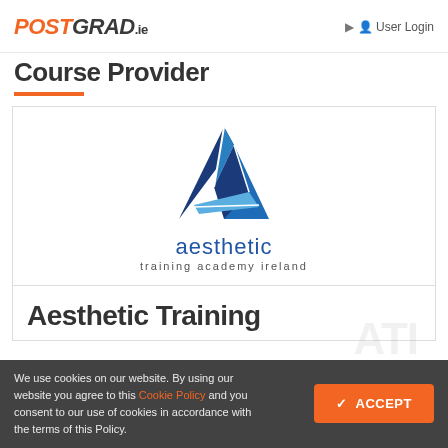POSTGRAD.ie  User Login
Course Provider
[Figure (logo): Aesthetic Training Academy Ireland logo: blue geometric triangle/sailboat shape above the text 'aesthetic training academy ireland']
Aesthetic Training
We use cookies on our website. By using our website you agree to this Cookie Policy and you consent to our use of cookies in accordance with the terms of this Policy.